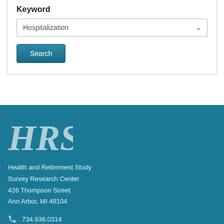Keyword
Hospitalization
Search
[Figure (logo): HRS logo in large italic serif font]
Health and Retirement Study
Survey Research Center
426 Thompson Street
Ann Arbor, MI 48104
734.936.0314
hrsquestions@umich.edu
@hrsisr